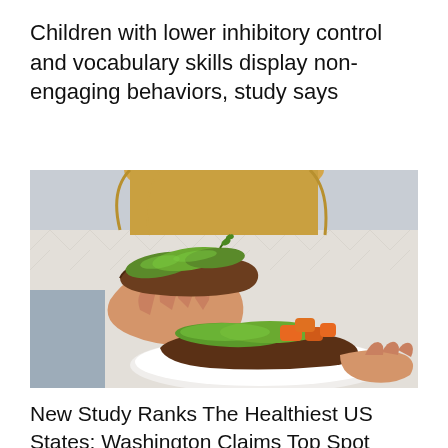Children with lower inhibitory control and vocabulary skills display non-engaging behaviors, study says
[Figure (photo): A person in a white knit sweater holding up a slice of whole grain bread topped with sliced avocado and herbs, while presenting another plate with bread topped with avocado slices and orange tomato pieces.]
New Study Ranks The Healthiest US States; Washington Claims Top Spot